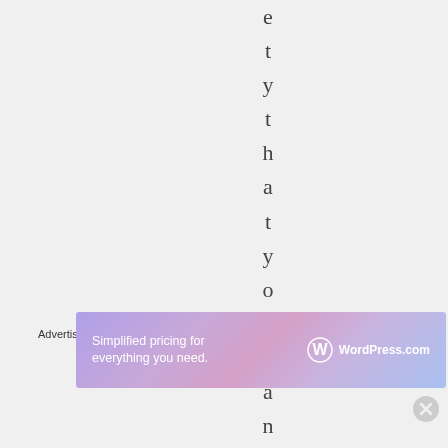e t y t h a t y o u w a n t
Advertisements
[Figure (infographic): WordPress.com advertisement banner with gradient purple-pink background. Text reads 'Simplified pricing for everything you need.' with WordPress.com logo on the right.]